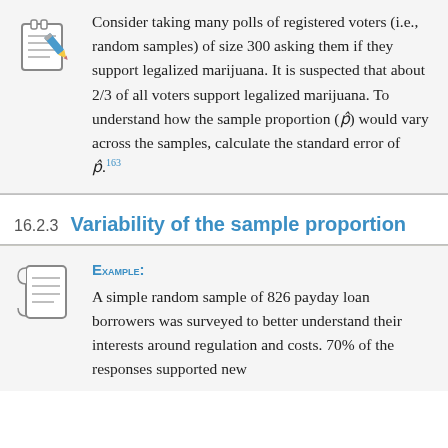Consider taking many polls of registered voters (i.e., random samples) of size 300 asking them if they support legalized marijuana. It is suspected that about 2/3 of all voters support legalized marijuana. To understand how the sample proportion (p̂) would vary across the samples, calculate the standard error of p̂.163
16.2.3 Variability of the sample proportion
Example: A simple random sample of 826 payday loan borrowers was surveyed to better understand their interests around regulation and costs. 70% of the responses supported new